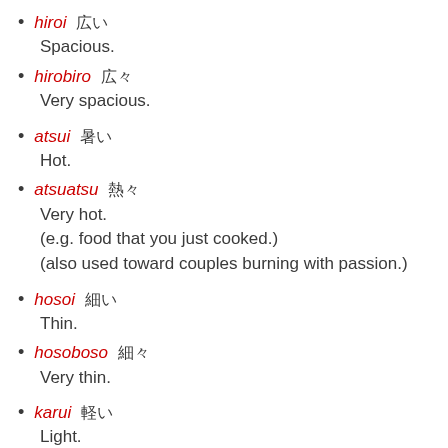hiroi 広い
Spacious.
hirobiro 広々
Very spacious.
atsui 暑い
Hot.
atsuatsu 熱々
Very hot.
(e.g. food that you just cooked.)
(also used toward couples burning with passion.)
hosoi 細い
Thin.
hosoboso 細々
Very thin.
karui 軽い
Light.
karugaru 軽々